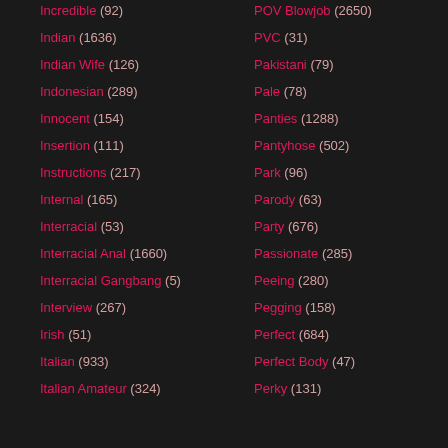Incredible (92)
Indian (1636)
Indian Wife (126)
Indonesian (289)
Innocent (154)
Insertion (111)
Instructions (217)
Internal (165)
Interracial (53)
Interracial Anal (1660)
Interracial Gangbang (5)
Interview (267)
Irish (51)
Italian (933)
Italian Amateur (324)
POV Blowjob (2650)
PVC (31)
Pakistani (79)
Pale (78)
Panties (1288)
Pantyhose (502)
Park (96)
Parody (63)
Party (676)
Passionate (285)
Peeing (280)
Pegging (158)
Perfect (684)
Perfect Body (47)
Perky (131)